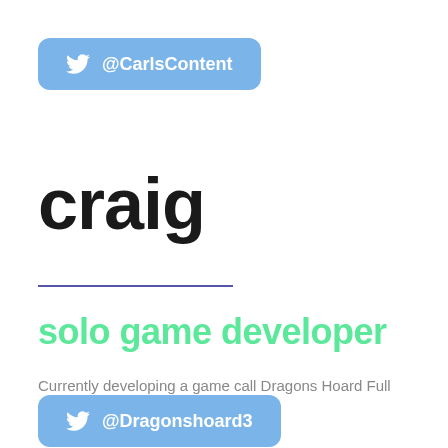@CarlsContent
craig
solo game developer
Currently developing a game call Dragons Hoard Full time refrigeration technician.
@Dragonshoard3